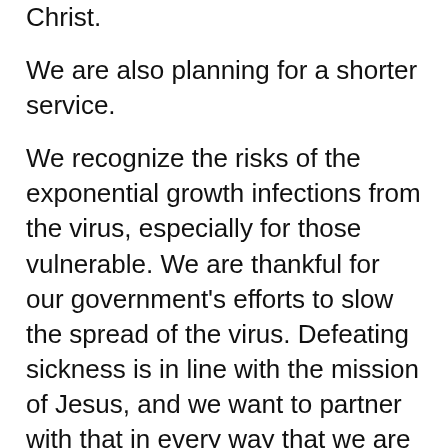Christ.
We are also planning for a shorter service.
We recognize the risks of the exponential growth infections from the virus, especially for those vulnerable. We are thankful for our government's efforts to slow the spread of the virus. Defeating sickness is in line with the mission of Jesus, and we want to partner with that in every way that we are called to.
We are confident that our gathering is in line with the law, as we have been tracking our numbers, and can use our facilities to make accommodations, if necessary.
We are also taking precautions that are proportional to the risk of gathering as we understand them. We have hired a cleaning service, Core Tech, that will do a deep clean of our entire facility Saturday night--this will include a sanitizing spray in all common areas